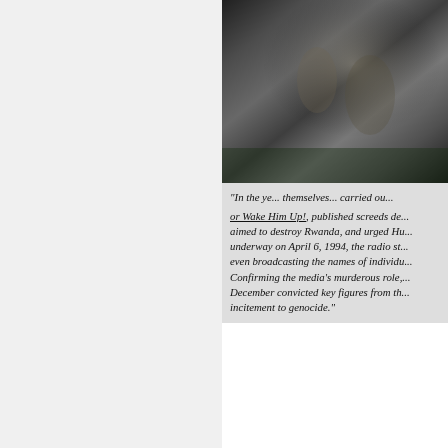[Figure (photo): Black and white historical photograph showing figures in an outdoor setting, partially cropped at top of page]
killing ca...
"In the ye... themselves... carried ou...
or Wake Him Up!, published screeds de... aimed to destroy Rwanda, and urged Hu... underway on April 6, 1994, the radio st... even broadcasting the names of individu... Confirming the media's murderous role,... December convicted key figures from th... incitement to genocide."
That process - by which average people bec... and so we have an obligation to act on that k...
"Left Behind: Eternal Forces" functions to c... societal groups.
"The conversion of socialized people in... altering their personality structures, agg... is accomplished by cognitively redefin...